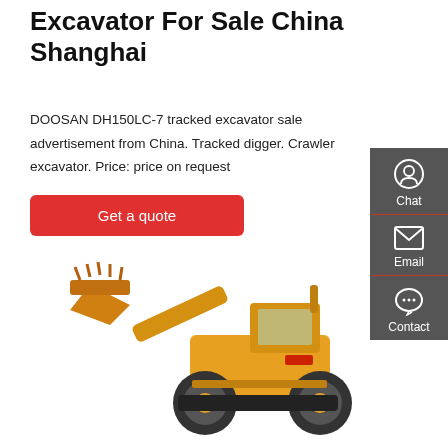Excavator For Sale China Shanghai
DOOSAN DH150LC-7 tracked excavator sale advertisement from China. Tracked digger. Crawler excavator. Price: price on request
[Figure (other): Red 'Get a quote' button]
[Figure (other): Sidebar with Chat, Email, Contact icons on dark grey background]
[Figure (photo): Yellow wheel loader / crawler excavator machine on white background]